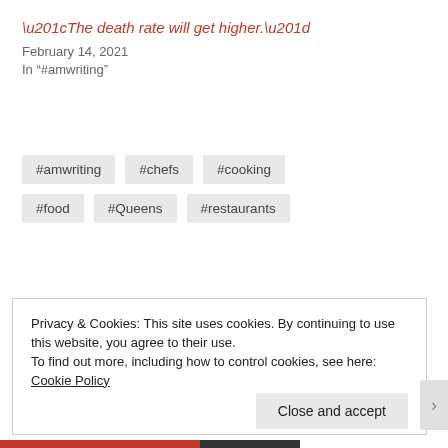“The death rate will get higher.”
February 14, 2021
In “#amwriting”
#amwriting
#chefs
#cooking
#food
#Queens
#restaurants
Privacy & Cookies: This site uses cookies. By continuing to use this website, you agree to their use.
To find out more, including how to control cookies, see here: Cookie Policy
Close and accept